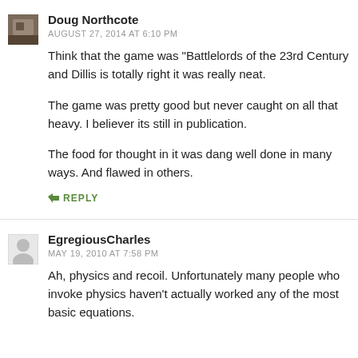Doug Northcote
AUGUST 27, 2014 AT 6:10 PM
Think that the game was "Battlelords of the 23rd Century and Dillis is totally right it was really neat.

The game was pretty good but never caught on all that heavy. I believer its still in publication.

The food for thought in it was dang well done in many ways. And flawed in others.
REPLY
EgregiousCharles
MAY 19, 2010 AT 7:58 PM
Ah, physics and recoil. Unfortunately many people who invoke physics haven't actually worked any of the most basic equations.